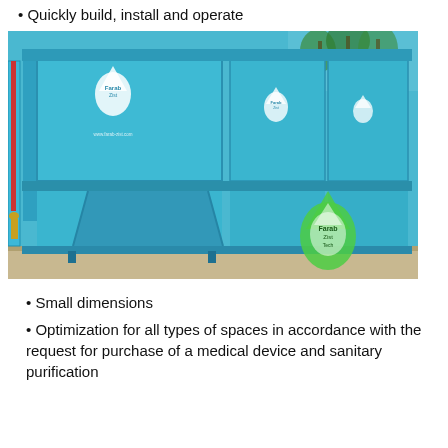Quickly build, install and operate
[Figure (photo): Large blue water treatment/purification unit with multiple compartments and the Farab/Zist logo, installed outdoors with pipes on the left side and palm trees visible in the background. A hopper/funnel section is visible at the base. A logo watermark appears in the bottom right corner.]
Small dimensions
Optimization for all types of spaces in accordance with the request for purchase of a medical device and sanitary purification